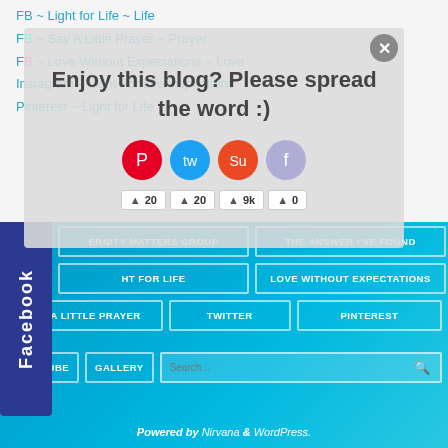FB ~ Light for Life ~ Life
FB ~ Say A Little Prayer ~ Prayer
FB ~ Love Without Expectations ~ Love
Instagram – Light For Life Inspirations
Pinterest ~ Light for Life
[Figure (screenshot): Popup overlay with text 'Enjoy this blog? Please spread the word :)' with social sharing icons and share counts (20, 20, 9k, 0) and a close button]
Facebook
ERNITY MATTERS GROUP
THE ANSWER I'VE FOUND
HT FOR LIFE
LOVE WITHOUT EXPECTATIONS
SAY A LITTLE PRAYER
TWITTER
PINTEREST
YOU TUBE
GALLERY
Powered by Nirvana & WordPress.